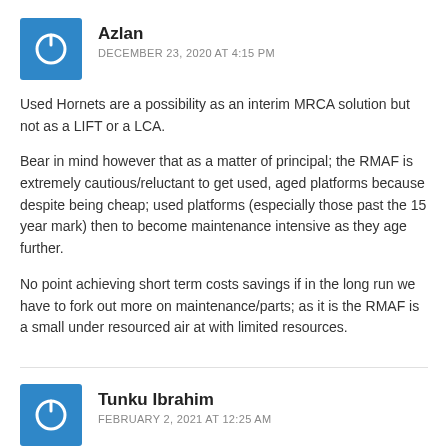[Figure (illustration): Blue square avatar icon with a power button symbol in white]
Azlan
DECEMBER 23, 2020 AT 4:15 PM
Used Hornets are a possibility as an interim MRCA solution but not as a LIFT or a LCA.

Bear in mind however that as a matter of principal; the RMAF is extremely cautious/reluctant to get used, aged platforms because despite being cheap; used platforms (especially those past the 15 year mark) then to become maintenance intensive as they age further.

No point achieving short term costs savings if in the long run we have to fork out more on maintenance/parts; as it is the RMAF is a small under resourced air at with limited resources.
[Figure (illustration): Blue square avatar icon with a power button symbol in white]
Tunku Ibrahim
FEBRUARY 2, 2021 AT 12:25 AM